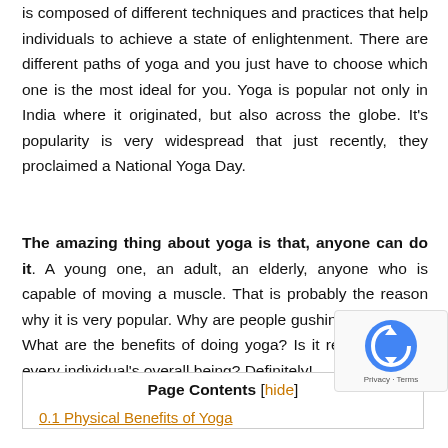is composed of different techniques and practices that help individuals to achieve a state of enlightenment. There are different paths of yoga and you just have to choose which one is the most ideal for you. Yoga is popular not only in India where it originated, but also across the globe. It's popularity is very widespread that just recently, they proclaimed a National Yoga Day.
The amazing thing about yoga is that, anyone can do it. A young one, an adult, an elderly, anyone who is capable of moving a muscle. That is probably the reason why it is very popular. Why are people gushing over Yoga? What are the benefits of doing yoga? Is it really good for every individual's overall being? Definitely!
Page Contents [hide]
0.1 Physical Benefits of Yoga